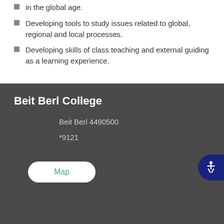in the global age.
Developing tools to study issues related to global, regional and local processes.
Developing skills of class teaching and external guiding as a learning experience.
Beit Berl College
Beit Berl 4490500
*9121
Map